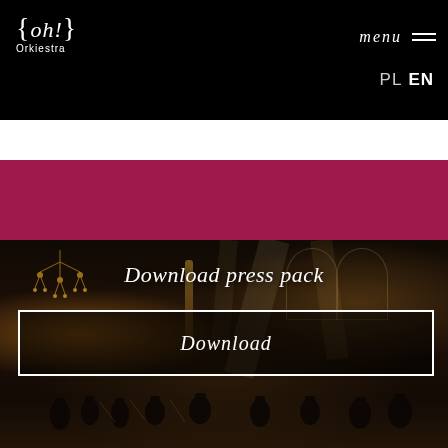[Figure (logo): oh! Orkiestra logo with curly braces on black background]
menu
PL EN
[Figure (photo): Concert photo inside a cathedral/church with chandeliers, arches, stage lighting, and orchestra musicians performing]
Download press pack
Download